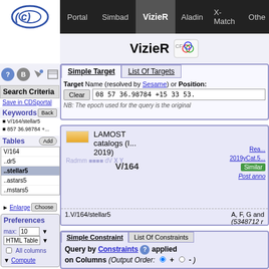CDS VizieR portal navigation: Portal, Simbad, VizieR, Aladin, X-Match, Other
VizieR
Search Criteria
Save in CDSportal
Keywords
V/164/stellar5
857 36.98784 +...
Tables
V/164
..dr5
..stellar5
..astars5
..mstars5
Preferences
max: 10
HTML Table
All columns
Compute
Simple Target | List Of Targets
Target Name (resolved by Sesame) or Position:
Clear  08 57 36.98784 +15 33 53.
NB: The epoch used for the query is the original
LAMOST catalogs (I... 2019)
V/164
Read more / 2019yCat.5... / Similar / Post anno
1.V/164/stellar5   A, F, G and (5348712 r
Simple Constraint | List Of Constraints
Query by Constraints applied on Columns (Output Order: + -)